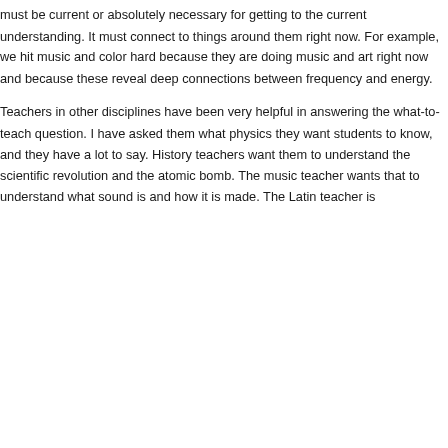must be current or absolutely necessary for getting to the current understanding. It must connect to things around them right now. For example, we hit music and color hard because they are doing music and art right now and because these reveal deep connections between frequency and energy.
Teachers in other disciplines have been very helpful in answering the what-to-teach question. I have asked them what physics they want students to know, and they have a lot to say. History teachers want them to understand the scientific revolution and the atomic bomb. The music teacher wants that to understand what sound is and how it is made. The Latin teacher is